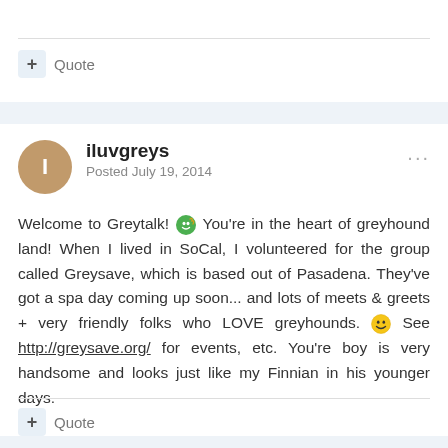+ Quote
iluvgreys
Posted July 19, 2014
Welcome to Greytalk! [emoji] You're in the heart of greyhound land! When I lived in SoCal, I volunteered for the group called Greysave, which is based out of Pasadena. They've got a spa day coming up soon... and lots of meets & greets + very friendly folks who LOVE greyhounds. [emoji] See http://greysave.org/ for events, etc. You're boy is very handsome and looks just like my Finnian in his younger days.
+ Quote